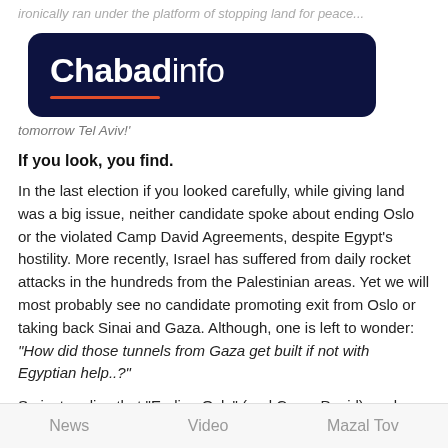ironically ran under the platform of stopping land for peace...
[Figure (logo): Chabadinfo logo on dark navy rounded rectangle background with orange underline]
tomorrow Tel Aviv!'
If you look, you find.
In the last election if you looked carefully, while giving land was a big issue, neither candidate spoke about ending Oslo or the violated Camp David Agreements, despite Egypt's hostility. More recently, Israel has suffered from daily rocket attacks in the hundreds from the Palestinian areas. Yet we will most probably see no candidate promoting exit from Oslo or taking back Sinai and Gaza. Although, one is left to wonder: "How did those tunnels from Gaza get built if not with Egyptian help..?"
So just realize that "Ending Oslo" (and Camp David) are key for moving Israel to move out of a Land-for-Peace mode...
News   Video   Mazal Tov